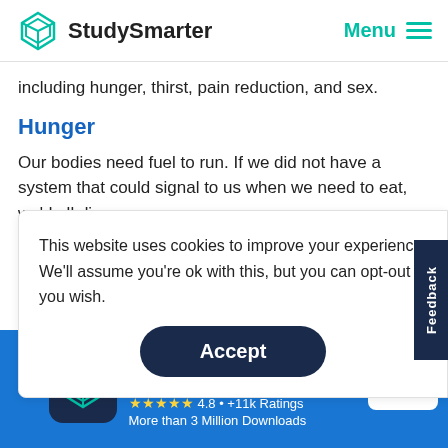StudySmarter | Menu
including hunger, thirst, pain reduction, and sex.
Hunger
Our bodies need fuel to run. If we did not have a system that could signal to us when we need to eat, we'd all di
This website uses cookies to improve your experience. We'll assume you're ok with this, but you can opt-out if you wish.
Accept
Feedback
StudySmarter - The all-in-one study app.
4.8 • +11k Ratings
More than 3 Million Downloads
Free